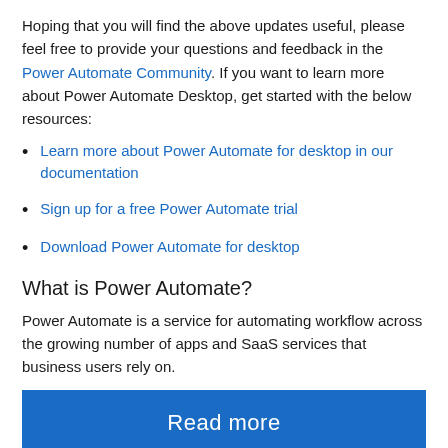Hoping that you will find the above updates useful, please feel free to provide your questions and feedback in the Power Automate Community. If you want to learn more about Power Automate Desktop, get started with the below resources:
Learn more about Power Automate for desktop in our documentation
Sign up for a free Power Automate trial
Download Power Automate for desktop
What is Power Automate?
Power Automate is a service for automating workflow across the growing number of apps and SaaS services that business users rely on.
Read more